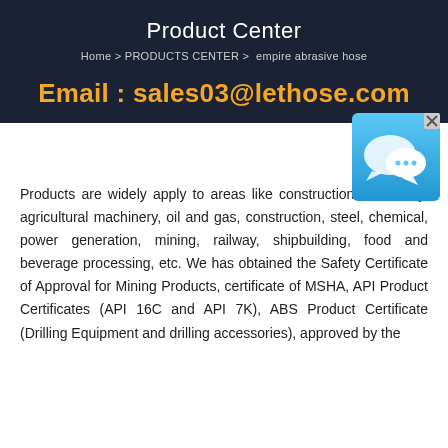Product Center
Home > PRODUCTS CENTER >  empire abrasive hose
Email : sales03@lethose.com
[Figure (illustration): Chat/messaging app icon with speech bubble on blue gradient background with X close button]
Products are widely apply to areas like construction machinery, agricultural machinery, oil and gas, construction, steel, chemical, power generation, mining, railway, shipbuilding, food and beverage processing, etc. We has obtained the Safety Certificate of Approval for Mining Products, certificate of MSHA, API Product Certificates (API 16C and API 7K), ABS Product Certificate (Drilling Equipment and drilling accessories), approved by the